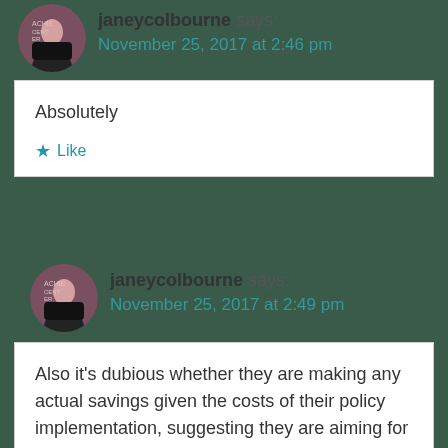janeycolbourne says: November 25, 2017 at 2:46 pm
Absolutely
Like
janeycolbourne says: November 25, 2017 at 2:49 pm
Also it's dubious whether they are making any actual savings given the costs of their policy implementation, suggesting they are aiming for a